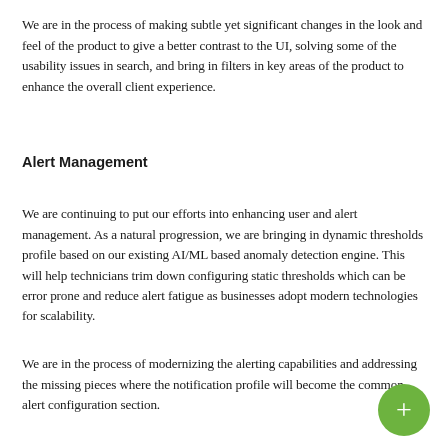We are in the process of making subtle yet significant changes in the look and feel of the product to give a better contrast to the UI, solving some of the usability issues in search, and bring in filters in key areas of the product to enhance the overall client experience.
Alert Management
We are continuing to put our efforts into enhancing user and alert management. As a natural progression, we are bringing in dynamic thresholds profile based on our existing AI/ML based anomaly detection engine. This will help technicians trim down configuring static thresholds which can be error prone and reduce alert fatigue as businesses adopt modern technologies for scalability.
We are in the process of modernizing the alerting capabilities and addressing the missing pieces where the notification profile will become the common alert configuration section.
Incident Response
To address the shift timings of IT operations teams and to ensure